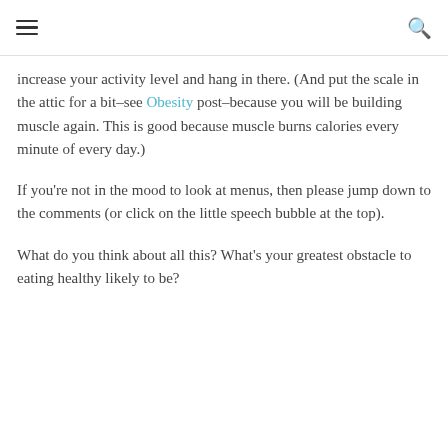[hamburger menu] [search icon]
increase your activity level and hang in there. (And put the scale in the attic for a bit–see Obesity post–because you will be building muscle again. This is good because muscle burns calories every minute of every day.)
If you're not in the mood to look at menus, then please jump down to the comments (or click on the little speech bubble at the top).
What do you think about all this? What's your greatest obstacle to eating healthy likely to be?